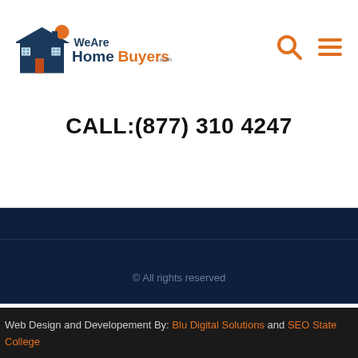[Figure (logo): WeAreHomeBuyers.com logo with house illustration and orange sun/circle accent, text reads WeAre HomeBuyers.com in blue and orange]
CALL:(877) 310 4247
© All rights reserved
Web Design and Developement By: Blu Digital Solutions and SEO State College